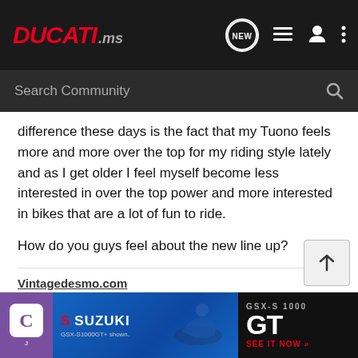DUCATI.ms — Search Community
difference these days is the fact that my Tuono feels more and more over the top for my riding style lately and as I get older I feel myself become less interested in over the top power and more interested in bikes that are a lot of fun to ride.
How do you guys feel about the new line up?
Vintagedesmo.com
Link to all of my bikes and builds: *Click!*
[Figure (screenshot): Suzuki GSX-S1000 GT advertisement banner at the bottom of the page]